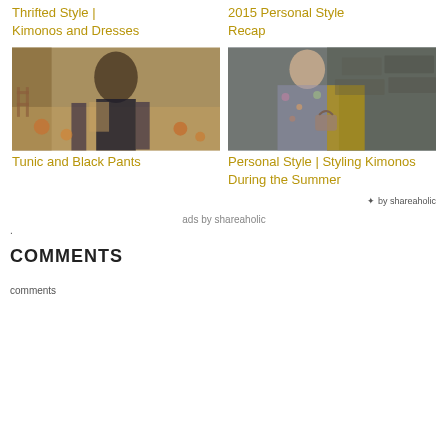Thrifted Style | Kimonos and Dresses
2015 Personal Style Recap
[Figure (photo): Person standing outdoors among autumn leaves wearing a tunic and black pants with a scarf]
[Figure (photo): Person standing by a stone wall wearing a floral kimono and carrying a handbag]
Tunic and Black Pants
Personal Style | Styling Kimonos During the Summer
✦ by shareaholic
ads by shareaholic
.
COMMENTS
comments